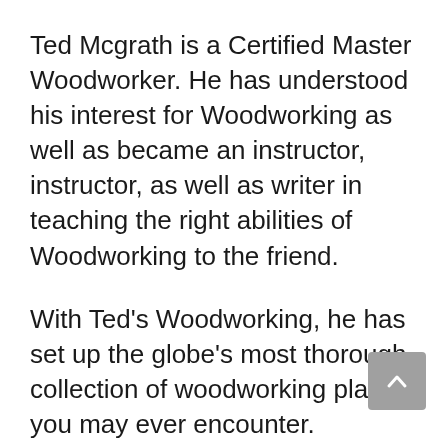Ted Mcgrath is a Certified Master Woodworker. He has understood his interest for Woodworking as well as became an instructor, instructor, as well as writer in teaching the right abilities of Woodworking to the friend.
With Ted's Woodworking, he has set up the globe's most thorough collection of woodworking plans you may ever encounter.
The collection provides hands-on access to 16000 woodworking projects with diverse done-for-you plans, come with detailed blueprints, and also various other